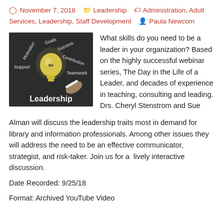November 7, 2018   Leadership   Administration, Adult Services, Leadership, Staff Development   Paula Newcom
[Figure (photo): Chalkboard image with lightbulb and words: Goals, Success, Motivation, Contribution, Support, Teamwork, Be, Leadership]
What skills do you need to be a leader in your organization? Based on the highly successful webinar series, The Day in the Life of a Leader, and decades of experience in teaching, consulting and leading. Drs. Cheryl Stenstrom and Sue Alman will discuss the leadership traits most in demand for library and information professionals. Among other issues they will address the need to be an effective communicator, strategist, and risk-taker. Join us for a lively interactive discussion.
Date Recorded: 9/25/18
Format: Archived YouTube Video